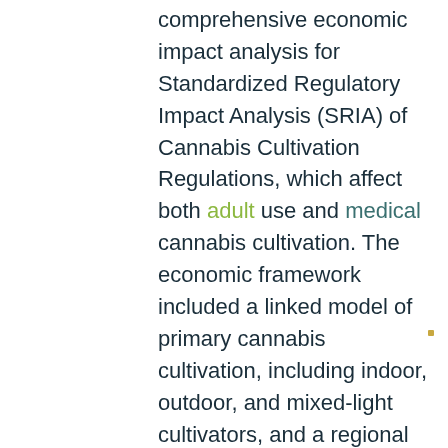comprehensive economic impact analysis for Standardized Regulatory Impact Analysis (SRIA) of Cannabis Cultivation Regulations, which affect both adult use and medical cannabis cultivation. The economic framework included a linked model of primary cannabis cultivation, including indoor, outdoor, and mixed-light cultivators, and a regional (IMPLAN) model used to estimate indirect and induced economic impacts. A significant part of the project involved a stakeholder survey of cannabis cultivators to determine financial statements, in addition to a survey of various local offices to gather local-sale primary production data. ERA worked closely with the California Department of Food and